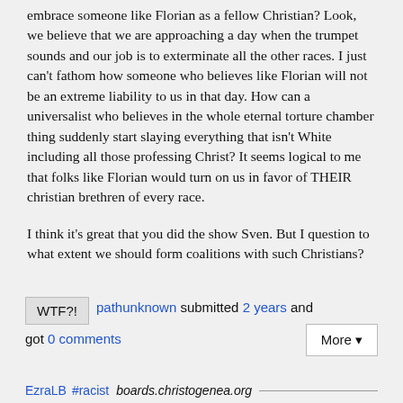embrace someone like Florian as a fellow Christian? Look, we believe that we are approaching a day when the trumpet sounds and our job is to exterminate all the other races. I just can't fathom how someone who believes like Florian will not be an extreme liability to us in that day. How can a universalist who believes in the whole eternal torture chamber thing suddenly start slaying everything that isn't White including all those professing Christ? It seems logical to me that folks like Florian would turn on us in favor of THEIR christian brethren of every race.
I think it's great that you did the show Sven. But I question to what extent we should form coalitions with such Christians?
WTF?! pathunknown submitted 2 years and got 0 comments
EzraLB #racist boards.christogenea.org